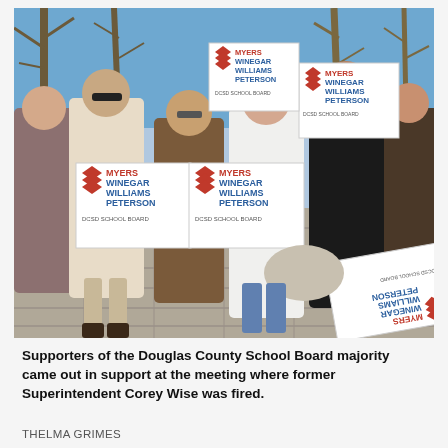[Figure (photo): A group of people standing outdoors on a brick plaza on a sunny winter day, holding campaign-style signs reading 'MYERS WINEGAR WILLIAMS PETERSON / DCSD SCHOOL BOARD'. One sign is lying on the ground upside down. Bare trees and blue sky visible in the background.]
Supporters of the Douglas County School Board majority came out in support at the meeting where former Superintendent Corey Wise was fired.
THELMA GRIMES